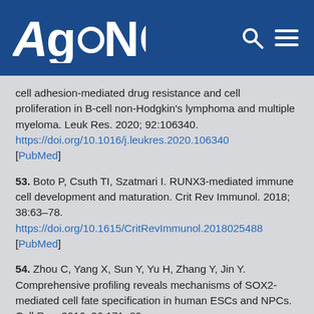AGING
cell adhesion-mediated drug resistance and cell proliferation in B-cell non-Hodgkin's lymphoma and multiple myeloma. Leuk Res. 2020; 92:106340. https://doi.org/10.1016/j.leukres.2020.106340 [PubMed]
53. Boto P, Csuth TI, Szatmari I. RUNX3-mediated immune cell development and maturation. Crit Rev Immunol. 2018; 38:63–78. https://doi.org/10.1615/CritRevImmunol.2018025488 [PubMed]
54. Zhou C, Yang X, Sun Y, Yu H, Zhang Y, Jin Y. Comprehensive profiling reveals mechanisms of SOX2-mediated cell fate specification in human ESCs and NPCs. Cell Res. 2016; 26:171–89. https://doi.org/10.1038/cr.2016.15 [PubMed]